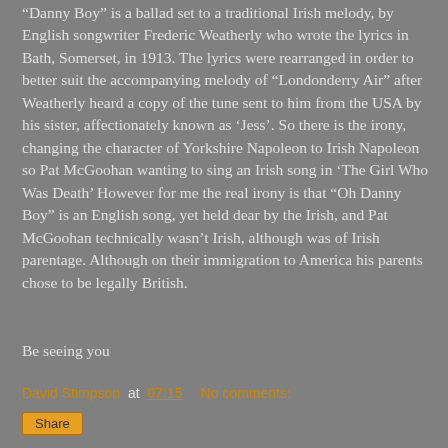"Danny Boy" is a ballad set to a traditional Irish melody, by English songwriter Frederic Weatherly who wrote the lyrics in Bath, Somerset, in 1913. The lyrics were rearranged in order to better suit the accompanying melody of "Londonderry Air" after Weatherly heard a copy of the tune sent to him from the USA by his sister, affectionately known as 'Jess'. So there is the irony, changing the character of Yorkshire Napoleon to Irish Napoleon so Pat McGoohan wanting to sing an Irish song in 'The Girl Who Was Death' However for me the real irony is that “Oh Danny Boy” is an English song, yet held dear by the Irish, and Pat McGoohan technically wasn’t Irish, although was of Irish parentage. Although on their immigration to America his parents chose to be legally British.
Be seeing you
David Stimpson at 07:15    No comments: